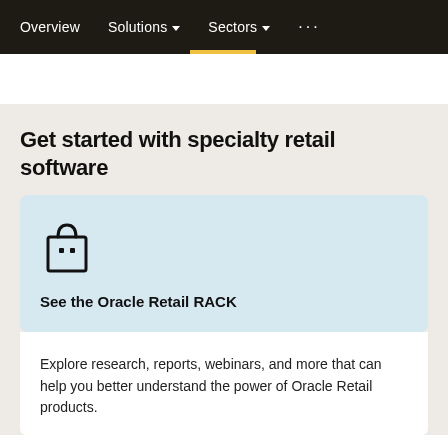Overview  Solutions  Sectors  ...
Get started with specialty retail software
[Figure (illustration): Shopping bag icon — outline of a bag with a handle and two small squares representing buttons, rendered in black on light blue background]
See the Oracle Retail RACK
Explore research, reports, webinars, and more that can help you better understand the power of Oracle Retail products.